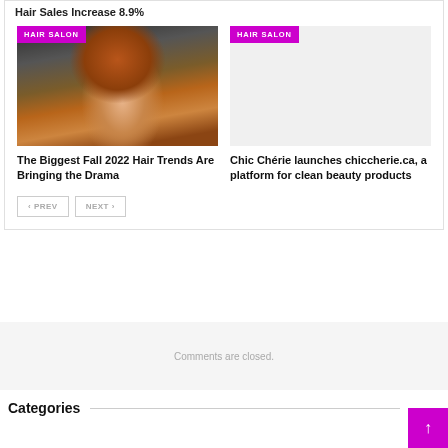Hair Sales Increase 8.9%
[Figure (photo): Photo of a woman with curly auburn hair wearing sunglasses and a white dress, with a HAIR SALON badge overlay]
[Figure (photo): Blank image placeholder with a HAIR SALON badge overlay]
The Biggest Fall 2022 Hair Trends Are Bringing the Drama
Chic Chérie launches chiccherie.ca, a platform for clean beauty products
Comments are closed.
Categories